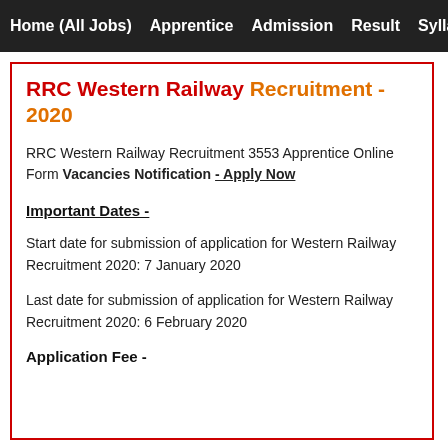Home (All Jobs)   Apprentice   Admission   Result   Sylla…
RRC Western Railway Recruitment - 2020
RRC Western Railway Recruitment 3553 Apprentice Online Form Vacancies Notification - Apply Now
Important Dates -
Start date for submission of application for Western Railway Recruitment 2020: 7 January 2020
Last date for submission of application for Western Railway Recruitment 2020: 6 February 2020
Application Fee -